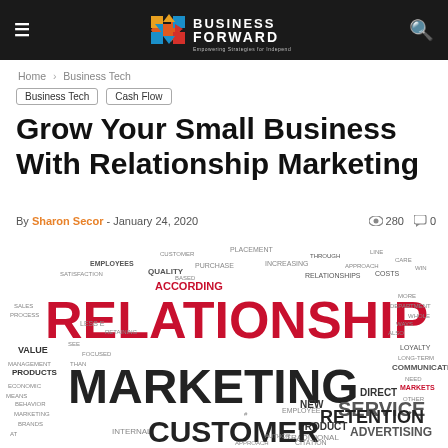Business Forward — Empowering Strategies for Independent Business
Home › Business Tech
Business Tech  Cash Flow
Grow Your Small Business With Relationship Marketing
By Sharon Secor - January 24, 2020   👁 280   💬 0
[Figure (illustration): Word cloud centered on the words RELATIONSHIP (large red), MARKETING (large dark), CUSTOMER (large dark), SERVICE, RETENTION, ADVERTISING, MARKETS, PRODUCTS, VALUE, and many smaller related business/marketing terms in red, dark grey, and light grey.]